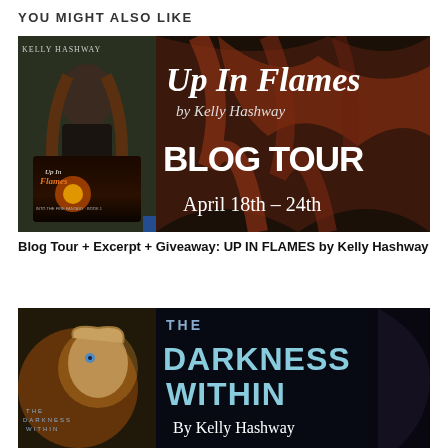YOU MIGHT ALSO LIKE
[Figure (photo): Blog tour promotional banner for 'Up In Flames' by Kelly Hashway. Left side shows book cover with a dark-haired woman in a forest. Right side shows text 'Up In Flames by Kelly Hashway BLOG TOUR April 18th - 24th' on a dark background with flowing red hair.]
Blog Tour + Excerpt + Giveaway: UP IN FLAMES by Kelly Hashway
[Figure (photo): Promotional banner for 'The Darkness Within' by Kelly Hashway. Left shows book cover with a young man's face. Right shows large bold text 'THE DARKNESS WITHIN By Kelly Hashway' on dark background.]